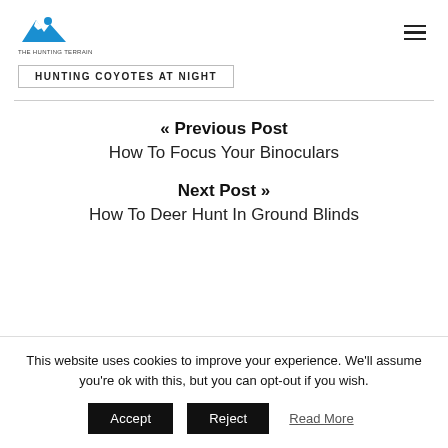The Hunting Terrain [logo + hamburger menu]
HUNTING COYOTES AT NIGHT
« Previous Post
How To Focus Your Binoculars
Next Post »
How To Deer Hunt In Ground Blinds
This website uses cookies to improve your experience. We'll assume you're ok with this, but you can opt-out if you wish.